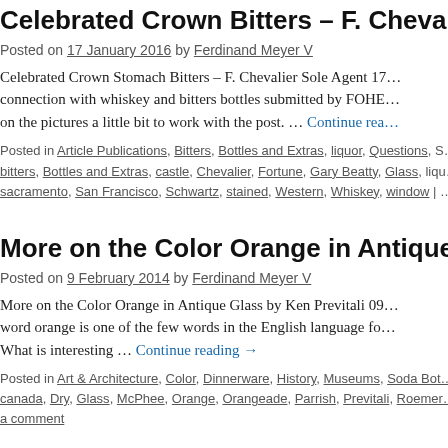Celebrated Crown Bitters – F. Chevalier S…
Posted on 17 January 2016 by Ferdinand Meyer V
Celebrated Crown Stomach Bitters – F. Chevalier Sole Agent 17… connection with whiskey and bitters bottles submitted by FOHE… on the pictures a little bit to work with the post. … Continue reading →
Posted in Article Publications, Bitters, Bottles and Extras, liquor, Questions, S… bitters, Bottles and Extras, castle, Chevalier, Fortune, Gary Beatty, Glass, liqu… sacramento, San Francisco, Schwartz, stained, Western, Whiskey, window | …
More on the Color Orange in Antique Gla…
Posted on 9 February 2014 by Ferdinand Meyer V
More on the Color Orange in Antique Glass by Ken Previtali 09… word orange is one of the few words in the English language fo… What is interesting … Continue reading →
Posted in Art & Architecture, Color, Dinnerware, History, Museums, Soda Bo… canada, Dry, Glass, McPhee, Orange, Orangeade, Parrish, Previtali, Roemer… a comment